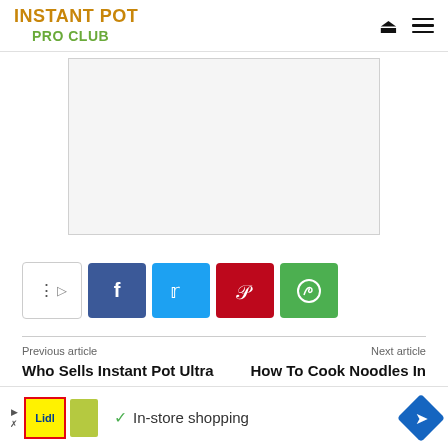INSTANT POT PRO CLUB
[Figure (other): Gray advertisement placeholder box]
[Figure (infographic): Social share bar with share trigger button, Facebook, Twitter, Pinterest, and WhatsApp buttons]
Previous article
Who Sells Instant Pot Ultra
Next article
How To Cook Noodles In Instant Pot
[Figure (infographic): Bottom advertisement banner for Lidl in-store shopping with map/navigation icon]